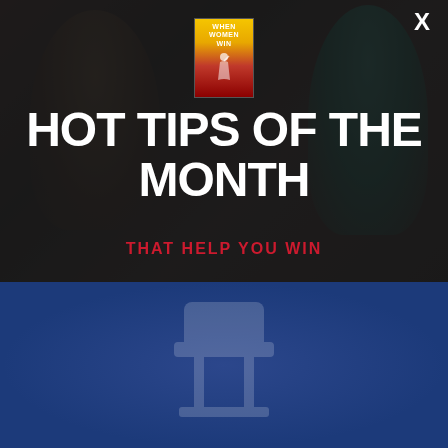[Figure (photo): Background image of two women in a dark office/workspace setting, with a book cover 'When Women Win' overlaid in the center top area. A close/X button appears in the top right corner.]
HOT TIPS OF THE MONTH
THAT HELP YOU WIN
[Figure (photo): Blue background section with faint decorative chair or abstract shape in background]